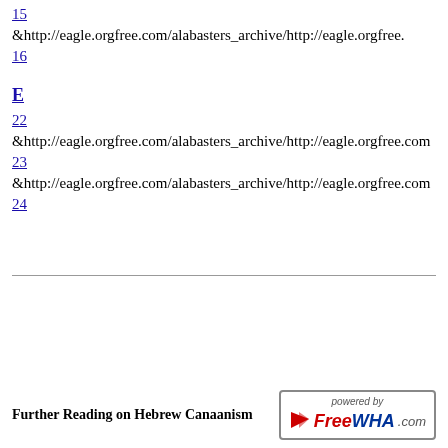15
&http://eagle.orgfree.com/alabasters_archive/http://eagle.orgfree.
16
E
22
&http://eagle.orgfree.com/alabasters_archive/http://eagle.orgfree.com
23
&http://eagle.orgfree.com/alabasters_archive/http://eagle.orgfree.com
24
Further Reading on Hebrew Canaanism
[Figure (logo): FreeWHA.com powered by logo badge]